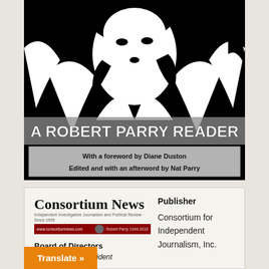[Figure (illustration): High-contrast black and white illustration of a person (Robert Parry) with arms raised, with the title 'A Robert Parry Reader' overlaid, and subtitle text 'With a foreword by Diane Duston / Edited and with an afterword by Nat Parry']
A ROBERT PARRY READER
With a foreword by Diane Duston
Edited and with an afterword by Nat Parry
[Figure (logo): Consortium News logo with tagline and red bar]
Publisher
Consortium for Independent Journalism, Inc.
Board of Directors
Diane Duston, President